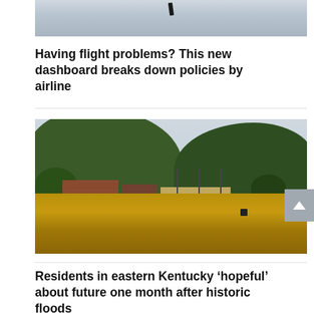[Figure (photo): Partial top of an image, appears to show a dark bird or object against a cloudy sky — cropped at top of page]
Having flight problems? This new dashboard breaks down policies by airline
[Figure (photo): Aerial or elevated view of a flooded town in eastern Kentucky surrounded by forested green hills under an overcast sky. Brown floodwater covers streets and lower areas near buildings.]
Residents in eastern Kentucky ‘hopeful’ about future one month after historic floods